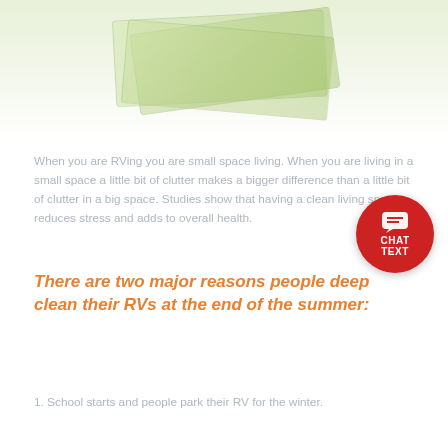[Figure (photo): Faded/watermarked image of stacked currency bills (appears to be Euro notes) at top of page]
When you are RVing you are small space living. When you are living in a small space a little bit of clutter makes a bigger difference than a little bit of clutter in a big space. Studies show that having a clean living space reduces stress and adds to overall health.
There are two major reasons people deep clean their RVs at the end of the summer:
1. School starts and people park their RV for the winter.